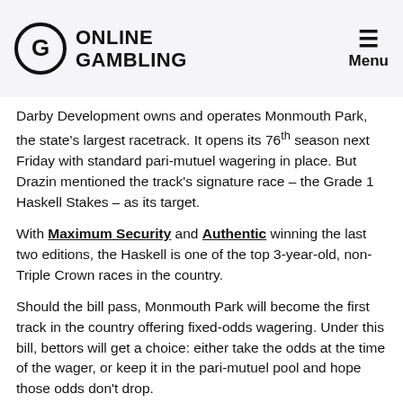Online Gambling | Menu
Darby Development owns and operates Monmouth Park, the state's largest racetrack. It opens its 76th season next Friday with standard pari-mutuel wagering in place. But Drazin mentioned the track's signature race – the Grade 1 Haskell Stakes – as its target.
With Maximum Security and Authentic winning the last two editions, the Haskell is one of the top 3-year-old, non-Triple Crown races in the country.
Should the bill pass, Monmouth Park will become the first track in the country offering fixed-odds wagering. Under this bill, bettors will get a choice: either take the odds at the time of the wager, or keep it in the pari-mutuel pool and hope those odds don't drop.
Fixed-odds could bring in a needed younger demo